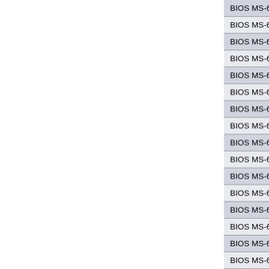BIOS MS-6528LE, Version: 1.4 driver
BIOS MS-6528LE, Version: 1.3 driver
BIOS MS-6528LE, Version: 1.2 driver
BIOS MS-6528LE, Version: 1.1 driver
BIOS MS-6528LE, Version: 1.0 driver
BIOS MS-6526GL, Version: 3.5 driver
BIOS MS-6526GL, Version: 3.4 driver
BIOS MS-6526GL, Version: 3.3 driver
BIOS MS-6526GL, Version: 3.2 driver
BIOS MS-6526GL, Version: 3.1 driver
BIOS MS-6526GL, Version: 3.0 driver
BIOS MS-6526G, Version: 3.5 driver
BIOS MS-6526G, Version: 3.4 driver
BIOS MS-6526G, Version: 3.3 driver
BIOS MS-6526G, Version: 3.2 driver
BIOS MS-6526G, Version: 3.1 driver
BIOS MS-6526G, Version: 3.0 driver
BIOS MS-6524, Version: 1.7 driver
BIOS MS-6524, Version: 1.6 driver
BIOS MS-6524, Version: 1.5 driver
BIOS MS-6524, Version: 1.4 driver
BIOS MS-6524, Version: 1.3 driver